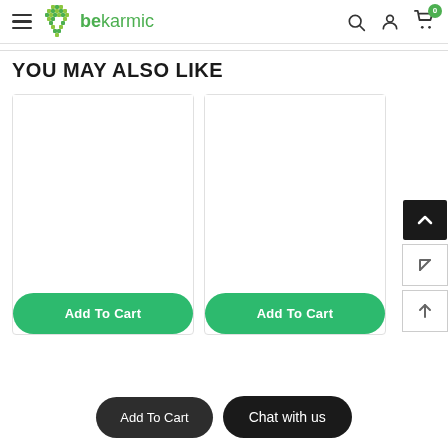bekarmic — navigation header with hamburger menu, search, account, and cart (0 items)
YOU MAY ALSO LIKE
[Figure (other): Product card image area (left) — empty white product image placeholder]
[Figure (other): Product card image area (right) — empty white product image placeholder]
Add To Cart (left product button)
Add To Cart (right product button)
Add To Cart (floating dark button)
Chat with us (floating dark button)